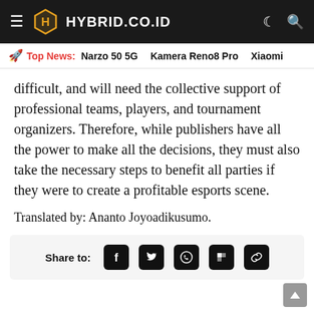HYBRID.CO.ID
Top News: Narzo 50 5G   Kamera Reno8 Pro   Xiaomi
difficult, and will need the collective support of professional teams, players, and tournament organizers. Therefore, while publishers have all the power to make all the decisions, they must also take the necessary steps to benefit all parties if they were to create a profitable esports scene.
Translated by: Ananto Joyoadikusumo.
Share to: